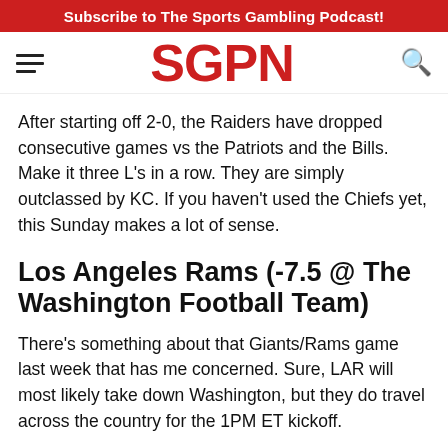Subscribe to The Sports Gambling Podcast!
[Figure (logo): SGPN logo in red with hamburger menu on left and search icon on right]
After starting off 2-0, the Raiders have dropped consecutive games vs the Patriots and the Bills. Make it three L’s in a row. They are simply outclassed by KC. If you haven’t used the Chiefs yet, this Sunday makes a lot of sense.
Los Angeles Rams (-7.5 @ The Washington Football Team)
There’s something about that Giants/Rams game last week that has me concerned. Sure, LAR will most likely take down Washington, but they do travel across the country for the 1PM ET kickoff.